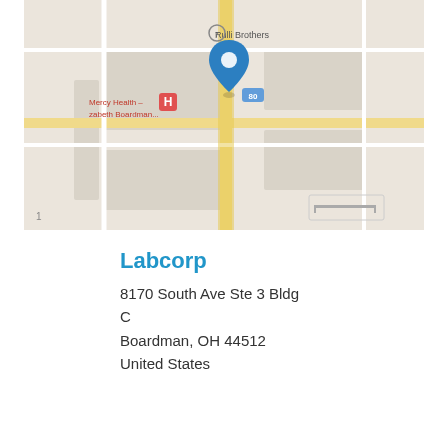[Figure (map): Google Maps screenshot showing location pin (blue marker) near Rulli Brothers and Mercy Health - Elizabeth Boardman area, Boardman, OH 44512]
Labcorp
8170 South Ave Ste 3 Bldg C
Boardman, OH 44512
United States